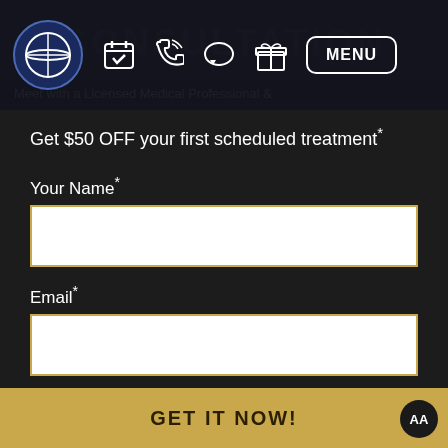[Figure (screenshot): Navigation bar with circular logo, calendar/check icon, phone icon, chat bubble icon, gift icon, and MENU button]
CONSULTATION
Meet with a Licensed Medical Professional &
Get $50 OFF your first scheduled treatment*
Your Name*
Email*
Phone
GET IT NOW!